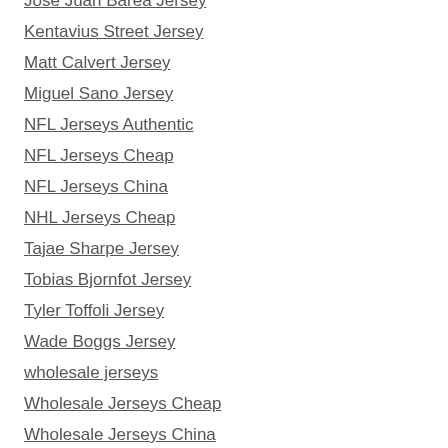Jose Juan Barea Jersey
Kentavius Street Jersey
Matt Calvert Jersey
Miguel Sano Jersey
NFL Jerseys Authentic
NFL Jerseys Cheap
NFL Jerseys China
NHL Jerseys Cheap
Tajae Sharpe Jersey
Tobias Bjornfot Jersey
Tyler Toffoli Jersey
Wade Boggs Jersey
wholesale jerseys
Wholesale Jerseys Cheap
Wholesale Jerseys China
Wholesale Jerseys Usa
Wholesale NFL Jerseys
Wholesale NFL Jerseys China